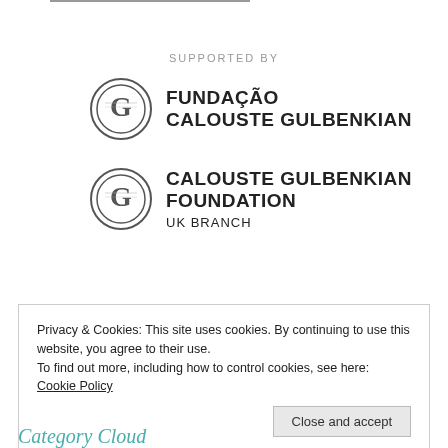[Figure (logo): Fundação Calouste Gulbenkian logo — circular emblem with text 'FUNDAÇÃO CALOUSTE GULBENKIAN']
[Figure (logo): Calouste Gulbenkian Foundation UK Branch logo — circular emblem with text 'CALOUSTE GULBENKIAN FOUNDATION UK BRANCH']
Privacy & Cookies: This site uses cookies. By continuing to use this website, you agree to their use.
To find out more, including how to control cookies, see here: Cookie Policy
Close and accept
Category Cloud